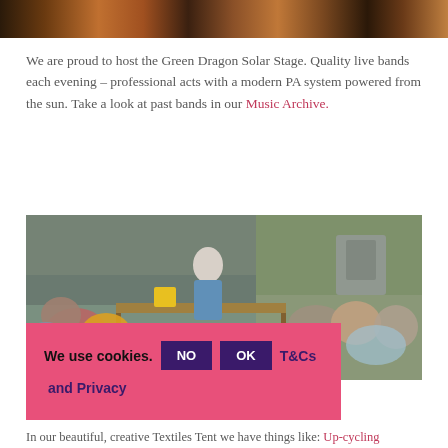[Figure (photo): Top portion of a photo showing a stage or performance area with warm orange/brown lighting]
We are proud to host the Green Dragon Solar Stage. Quality live bands each evening – professional acts with a modern PA system powered from the sun. Take a look at past bands in our Music Archive.
[Figure (photo): Outdoor event photo showing people gathered around a table in a tent area. An elderly woman with white hair stands at the table. Attendees are seated around her in an outdoor creative/textiles tent setting.]
We use cookies.
In our beautiful, creative Textiles Tent we have things like: Up-cycling